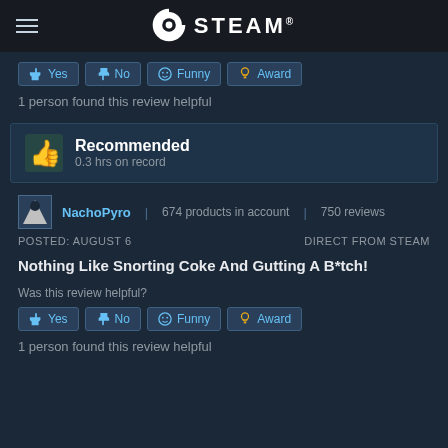STEAM
Yes | No | Funny | Award (vote buttons)
1 person found this review helpful
Recommended
0.3 hrs on record
NachoPyro | 674 products in account | 750 reviews
POSTED: AUGUST 6   DIRECT FROM STEAM
Nothing Like Snorting Coke And Gutting A B*tch!
Was this review helpful?
Yes | No | Funny | Award (vote buttons)
1 person found this review helpful